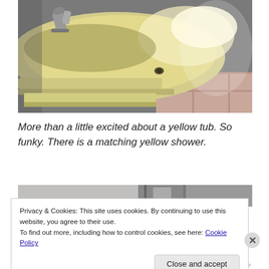[Figure (photo): Close-up photo of a yellow/cream bathtub with chrome faucet fixtures, showing the tub's surface with light reflecting off it, and a tiled floor visible at the bottom right.]
More than a little excited about a yellow tub. So funky. There is a matching yellow shower.
[Figure (photo): Partial view of another photo, mostly obscured by the cookie banner overlay. Shows gray and blurred image content.]
Privacy & Cookies: This site uses cookies. By continuing to use this website, you agree to their use.
To find out more, including how to control cookies, see here: Cookie Policy
Close and accept